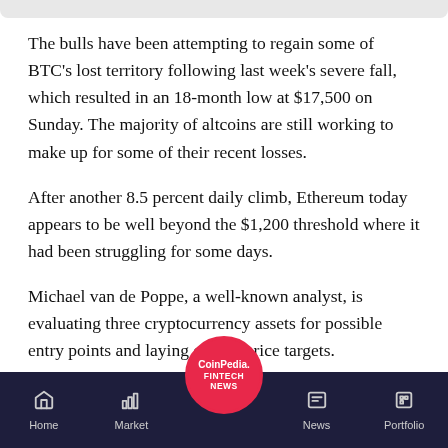The bulls have been attempting to regain some of BTC's lost territory following last week's severe fall, which resulted in an 18-month low at $17,500 on Sunday. The majority of altcoins are still working to make up for some of their recent losses.
After another 8.5 percent daily climb, Ethereum today appears to be well beyond the $1,200 threshold where it had been struggling for some days.
Michael van de Poppe, a well-known analyst, is evaluating three cryptocurrency assets for possible entry points and laying out his price targets.
Zilliqa
[Figure (logo): CoinPedia Fintech News circular logo in red]
Home | Market | News | Portfolio